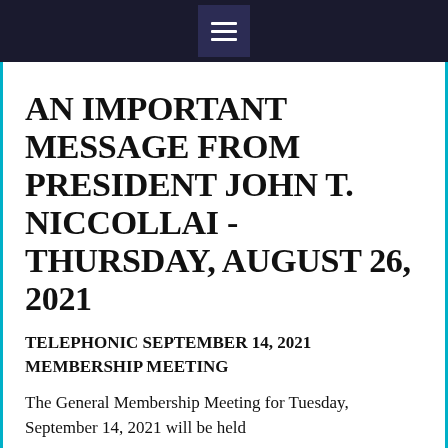≡
AN IMPORTANT MESSAGE FROM PRESIDENT JOHN T. NICCOLLAI - THURSDAY, AUGUST 26, 2021
TELEPHONIC SEPTEMBER 14, 2021 MEMBERSHIP MEETING
The General Membership Meeting for Tuesday, September 14, 2021 will be held